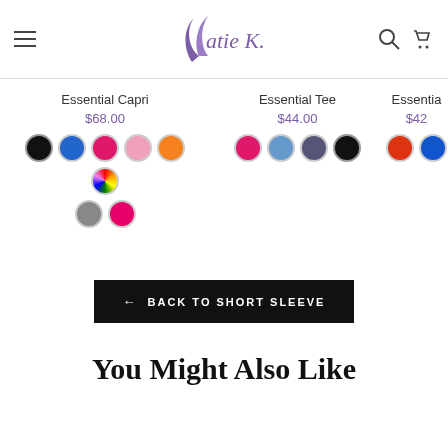Katie K. — Navigation header with hamburger menu, logo, search and cart icons
Essential Capri
$68.00
Essential Tee
$44.00
Essentia… $42…
← BACK TO SHORT SLEEVE
You Might Also Like